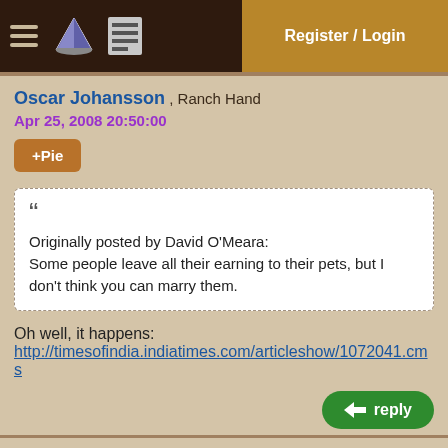Register / Login
Oscar Johansson , Ranch Hand
Apr 25, 2008 20:50:00
+Pie
Originally posted by David O'Meara:
Some people leave all their earning to their pets, but I don't think you can marry them.
Oh well, it happens:
http://timesofindia.indiatimes.com/articleshow/1072041.cms
reply
Pat Farrell , Rancher
Apr 25, 2008 21:17:00